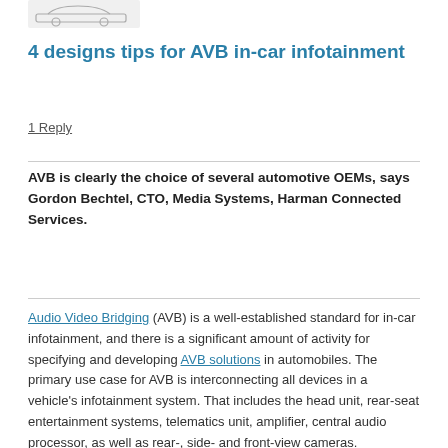[Figure (illustration): Small sketch/logo image of a car or vehicle outline in the top left corner]
4 designs tips for AVB in-car infotainment
1 Reply
AVB is clearly the choice of several automotive OEMs, says Gordon Bechtel, CTO, Media Systems, Harman Connected Services.
Audio Video Bridging (AVB) is a well-established standard for in-car infotainment, and there is a significant amount of activity for specifying and developing AVB solutions in automobiles. The primary use case for AVB is interconnecting all devices in a vehicle's infotainment system. That includes the head unit, rear-seat entertainment systems, telematics unit, amplifier, central audio processor, as well as rear-, side- and front-view cameras.